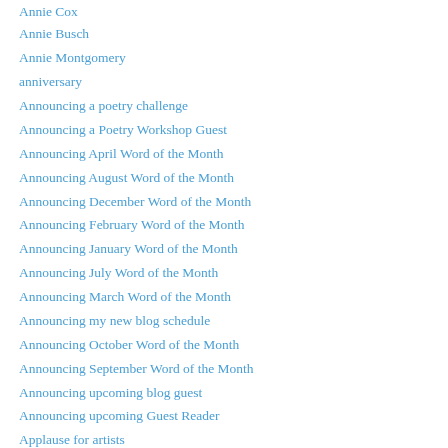Annie Cox
Annie Busch
Annie Montgomery
anniversary
Announcing a poetry challenge
Announcing a Poetry Workshop Guest
Announcing April Word of the Month
Announcing August Word of the Month
Announcing December Word of the Month
Announcing February Word of the Month
Announcing January Word of the Month
Announcing July Word of the Month
Announcing March Word of the Month
Announcing my new blog schedule
Announcing October Word of the Month
Announcing September Word of the Month
Announcing upcoming blog guest
Announcing upcoming Guest Reader
Applause for artists
April Halprin Wayland